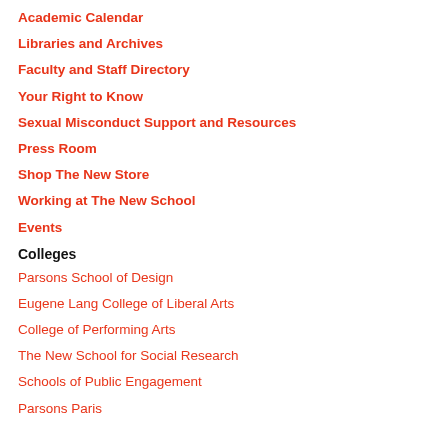Academic Calendar
Libraries and Archives
Faculty and Staff Directory
Your Right to Know
Sexual Misconduct Support and Resources
Press Room
Shop The New Store
Working at The New School
Events
Colleges
Parsons School of Design
Eugene Lang College of Liberal Arts
College of Performing Arts
The New School for Social Research
Schools of Public Engagement
Parsons Paris